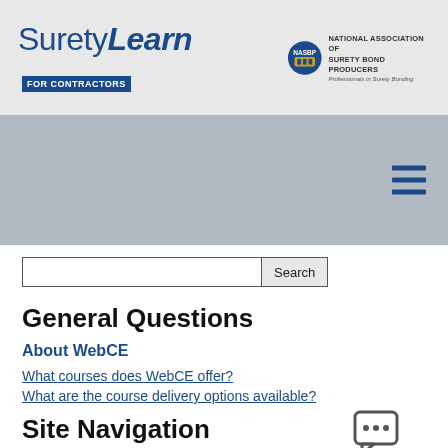[Figure (logo): SuretyLearn for Contractors logo with NASBP National Association of Surety Bond Producers branding]
[Figure (screenshot): Gray hero banner area with hamburger menu icon (three horizontal lines) in dark blue on the right side]
[Figure (other): Search input field with Search button]
General Questions
About WebCE
What courses does WebCE offer?
What are the course delivery options available?
Site Navigation
Managing Your Account